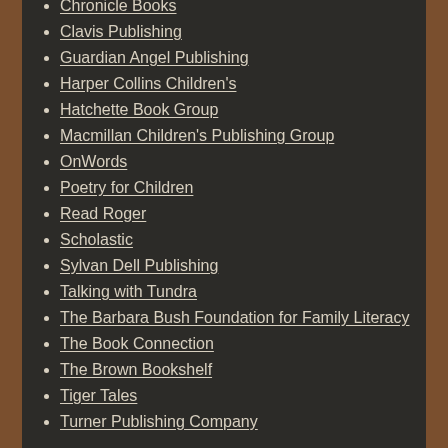Chronicle Books
Clavis Publishing
Guardian Angel Publishing
Harper Collins Children's
Hatchette Book Group
Macmillan Children's Publishing Group
OnWords
Poetry for Children
Read Roger
Scholastic
Sylvan Dell Publishing
Talking with Tundra
The Barbara Bush Foundation for Family Literacy
The Book Connection
The Brown Bookshelf
Tiger Tales
Turner Publishing Company